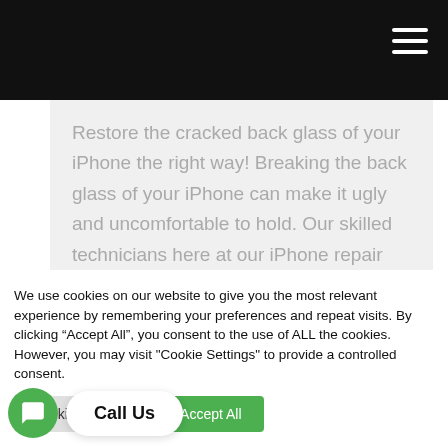Restore the cracked back glass of your iPhone the right way! Breaking the back glass of your iPhone can make it ugly and uncomfortable to hold. Our skilled technicians here at our iPhone repair center in Glendale offer your the quickest and most affordable solution to having the back glass on your iPhone repaired. We resrtore...
We use cookies on our website to give you the most relevant experience by remembering your preferences and repeat visits. By clicking “Accept All”, you consent to the use of ALL the cookies. However, you may visit "Cookie Settings" to provide a controlled consent.
Cookie Settings   Accept All
Call Us